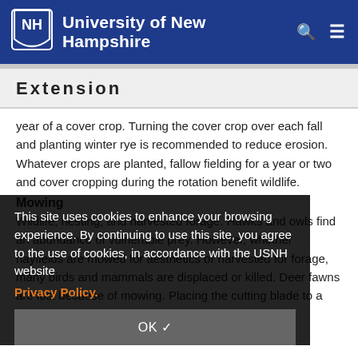University of New Hampshire
Extension
year of a cover crop. Turning the cover crop over each fall and planting winter rye is recommended to reduce erosion. Whatever crops are planted, fallow fielding for a year or two and cover cropping during the rotation benefit wildlife.
Mowing
Wildlife, nesting, and harvested forage. Hawks and owls find an abundance of vulnerable prey. However, whether hayfields are mowed for aesthetics or harvested for forage, many birds and mammals are displaced or killed. Deer fawns are lost because of mowing. Placing the cutting blade to a height of six inches helps prevent the loss of wildlife.
This site uses cookies to enhance your browsing experience. By continuing to use this site, you agree to the use of cookies, in accordance with the USNH website Privacy Policy.
OK ✓